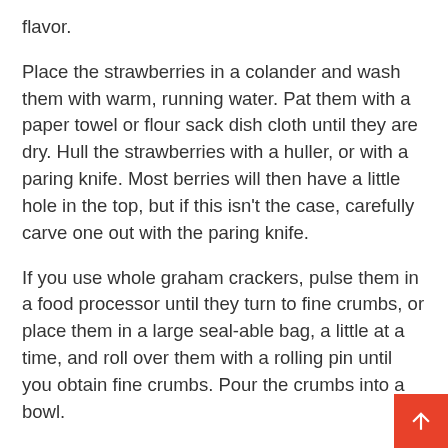flavor.
Place the strawberries in a colander and wash them with warm, running water. Pat them with a paper towel or flour sack dish cloth until they are dry. Hull the strawberries with a huller, or with a paring knife. Most berries will then have a little hole in the top, but if this isn't the case, carefully carve one out with the paring knife.
If you use whole graham crackers, pulse them in a food processor until they turn to fine crumbs, or place them in a large seal-able bag, a little at a time, and roll over them with a rolling pin until you obtain fine crumbs. Pour the crumbs into a bowl.
The strawberries taste best if eaten shortly after they are made, but you may store them in the refrigerator, in a covered dish, until ready to serve.